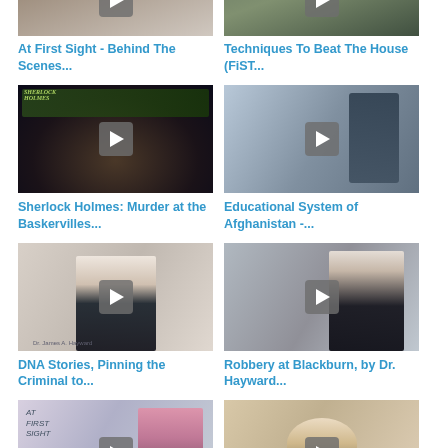[Figure (screenshot): Partial video thumbnail for 'At First Sight - Behind The Scenes...']
[Figure (screenshot): Partial video thumbnail for 'Techniques To Beat The House (FiST...']
At First Sight - Behind The Scenes...
Techniques To Beat The House (FiST...
[Figure (screenshot): Video thumbnail - Sherlock Holmes: Murder at the Baskervilles DVD cover]
[Figure (screenshot): Video thumbnail - person writing on whiteboard/wall, Educational System of Afghanistan]
Sherlock Holmes: Murder at the Baskervilles...
Educational System of Afghanistan -...
[Figure (screenshot): Video thumbnail - man in suit speaking, DNA Stories]
[Figure (screenshot): Video thumbnail - older man with glasses speaking, Robbery at Blackburn]
DNA Stories, Pinning the Criminal to...
Robbery at Blackburn, by Dr. Hayward...
[Figure (screenshot): Partial video thumbnail - At First Sight program with woman]
[Figure (screenshot): Partial video thumbnail - woman looking up]